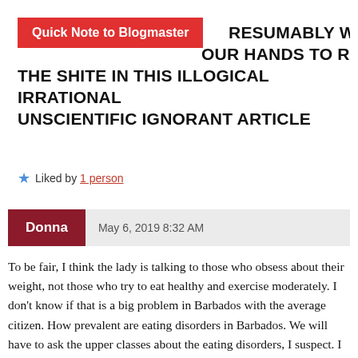Quick Note to Blogmaster
RESUMABLY WHEN YOU OUR HANDS TO READ THE SHITE IN THIS ILLOGICAL IRRATIONAL UNSCIENTIFIC IGNORANT ARTICLE
★ Liked by 1 person
Donna  May 6, 2019 8:32 AM
To be fair, I think the lady is talking to those who obsess about their weight, not those who try to eat healthy and exercise moderately. I don't know if that is a big problem in Barbados with the average citizen. How prevalent are eating disorders in Barbados. We will have to ask the upper classes about the eating disorders, I suspect. I don't see